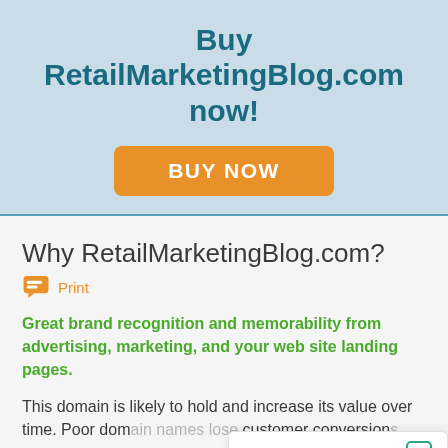Buy RetailMarketingBlog.com now!
[Figure (other): Orange BUY NOW button]
Why RetailMarketingBlog.com?
🖨 Print
Great brand recognition and memorability from advertising, marketing, and your web site landing pages.
This domain is likely to hold and increase its value over time. Poor dom... customer conversion...
Leave a message